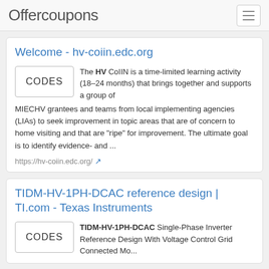Offercoupons
Welcome - hv-coiin.edc.org
The HV CoIIN is a time-limited learning activity (18–24 months) that brings together and supports a group of MIECHV grantees and teams from local implementing agencies (LIAs) to seek improvement in topic areas that are of concern to home visiting and that are "ripe" for improvement. The ultimate goal is to identify evidence- and ...
https://hv-coiin.edc.org/
TIDM-HV-1PH-DCAC reference design | TI.com - Texas Instruments
TIDM-HV-1PH-DCAC Single-Phase Inverter Reference Design With Voltage Control Grid Connected Mo...